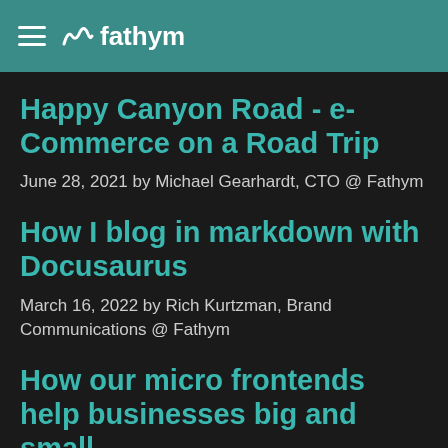fathym
Happy Canyon Road - e-Commerce on a Road Trip
June 28, 2021 by Michael Gearhardt, CTO @ Fathym
How I blog in markdown with Docusaurus
March 16, 2022 by Rich Kurtzman, Brand Communications @ Fathym
How our micro frontends help businesses big and small